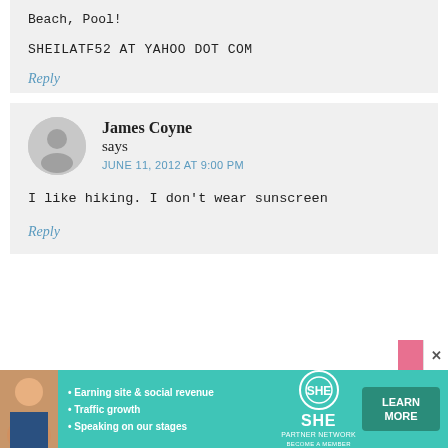Beach, Pool!
SHEILATF52 AT YAHOO DOT COM
Reply
James Coyne says
JUNE 11, 2012 AT 9:00 PM
I like hiking. I don't wear sunscreen
Reply
[Figure (infographic): Advertisement banner for SHE Partner Network with photo of woman, bullet points about Earning site & social revenue, Traffic growth, Speaking on our stages, SHE logo circle, and LEARN MORE button]